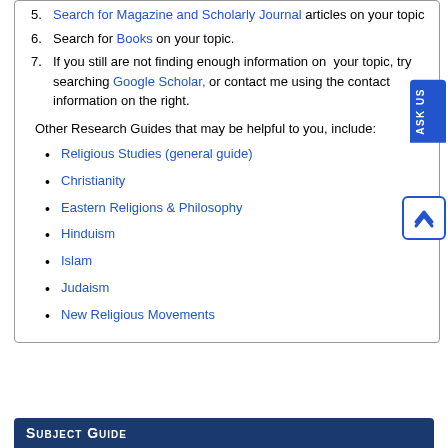5. Search for Magazine and Scholarly Journal articles on your topic
6. Search for Books on your topic.
7. If you still are not finding enough information on your topic, try searching Google Scholar, or contact me using the cont information on the right.
Other Research Guides that may be helpful to you, include:
Religious Studies (general guide)
Christianity
Eastern Religions & Philosophy
Hinduism
Islam
Judaism
New Religious Movements
Subject Guide